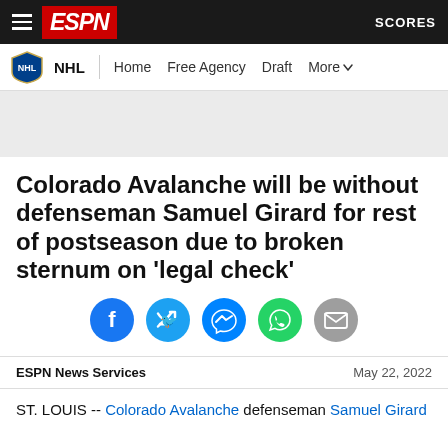ESPN — NHL | Home | Free Agency | Draft | More | SCORES
Colorado Avalanche will be without defenseman Samuel Girard for rest of postseason due to broken sternum on 'legal check'
[Figure (infographic): Social sharing icons: Facebook, Twitter, Messenger, WhatsApp, Email]
ESPN News Services   May 22, 2022
ST. LOUIS -- Colorado Avalanche defenseman Samuel Girard